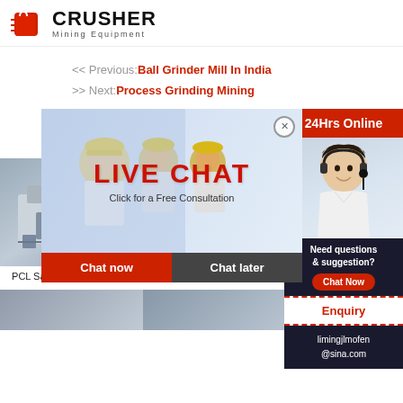[Figure (logo): Crusher Mining Equipment logo with red shopping bag icon and bold black CRUSHER text]
<< Previous: Ball Grinder Mill In India
>> Next: Process Grinding Mining
[Figure (screenshot): Live Chat popup with workers in hard hats, LIVE CHAT heading, Click for a Free Consultation text, Chat now and Chat later buttons]
[Figure (photo): PCL Sand Making Machine industrial equipment photo]
PCL Sand Making Machine
[Figure (photo): VSI5X Impact crusher industrial equipment photo]
VSI5X Impa...
24Hrs Online
[Figure (photo): Customer service agent with headset, smiling]
Need questions & suggestion?
Chat Now
Enquiry
limingjlmofen@sina.com